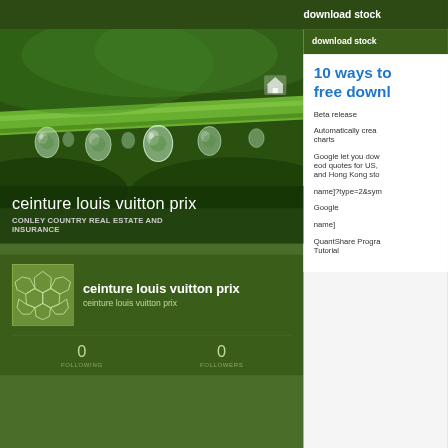download stock
[Figure (photo): Close-up photograph of green plant stem with water droplets hanging from it, macro photography with blurred green background]
ceinture louis vuitton prix
CONLEY COUNTRY REAL ESTATE AND INSURANCE
[Figure (logo): Square logo with geometric pattern resembling a soccer ball or crystal structure, white lines on green background]
ceinture louis vuitton prix
ceinture louis vuitton prix
0
FOLLOWING
0
FOLLOWERS
10 ways to
free downl
Beta release
Automatically crea charts
Google let you dow eod quotes for US, and Hong Kong sto
name]?type=2&sym
Google
name]
QuantShare Progra Tutorial